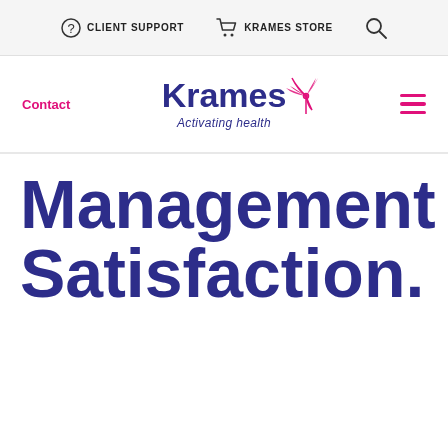CLIENT SUPPORT  KRAMES STORE
[Figure (logo): Krames logo with windmill icon and tagline 'Activating health']
Contact
Management Satisfaction.